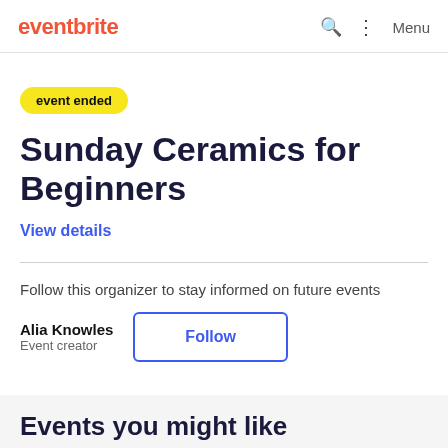eventbrite
event ended
Sunday Ceramics for Beginners
View details
Follow this organizer to stay informed on future events
Alia Knowles
Event creator
Follow
Events you might like